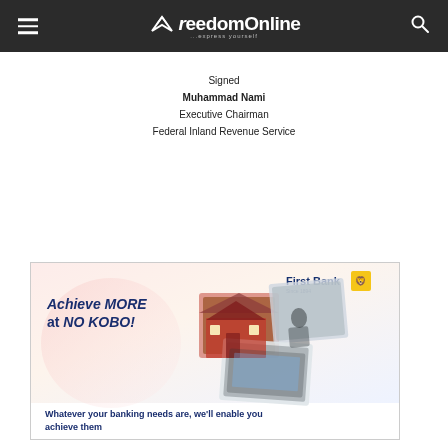FreedomOnline - express yourself
Signed
Muhammad Nami
Executive Chairman
Federal Inland Revenue Service
[Figure (illustration): FirstBank advertisement banner: 'Achieve MORE at NO KOBO!' with photos of a house, people in a meeting, and hands on a laptop. FirstBank logo top right. Text at bottom: 'Whatever your banking needs are, we'll enable you achieve them']